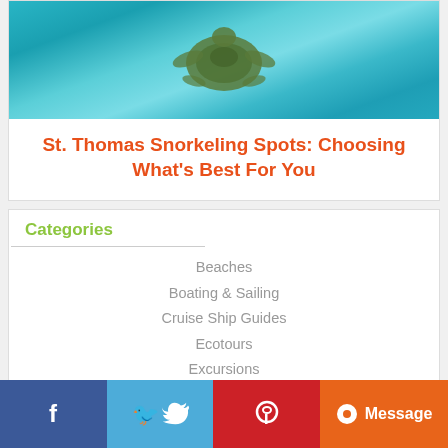[Figure (photo): Underwater photo of a sea turtle swimming over sandy seafloor in turquoise water]
St. Thomas Snorkeling Spots: Choosing What's Best For You
Categories
Beaches
Boating & Sailing
Cruise Ship Guides
Ecotours
Excursions
Experience St. John
Experience St. Thomas
Experience Tortola
Experience Virgin Gorda
Fitness
General Caribbean
Hotel Guides